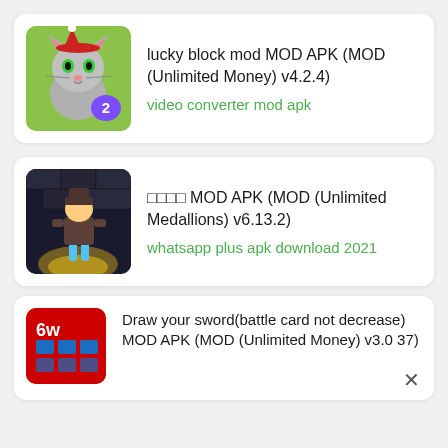[Figure (screenshot): App listing screenshot showing three app cards: 1) lucky block mod MOD APK with a cartoon cat icon, 2) a game MOD APK with a character in dungeon, 3) Draw your sword battle card MOD APK partially visible]
lucky block mod MOD APK (MOD (Unlimited Money) v4.2.4)
video converter mod apk
□□□□ MOD APK (MOD (Unlimited Medallions) v6.13.2)
whatsapp plus apk download 2021
Draw your sword(battle card not decrease) MOD APK (MOD (Unlimited Money) v3.0.37)